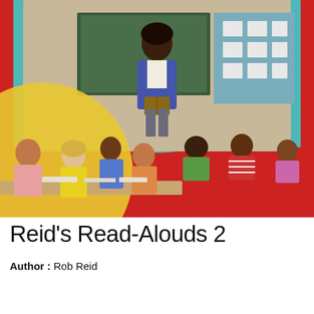[Figure (photo): Book cover image showing a classroom scene. A teacher (Black woman in blue blazer) stands at a chalkboard reading to young children seated on the floor. Overlapping circle with older students reading at a table. Red background, teal arch border, yellow circle accent on left.]
Reid's Read-Alouds 2
Author : Rob Reid